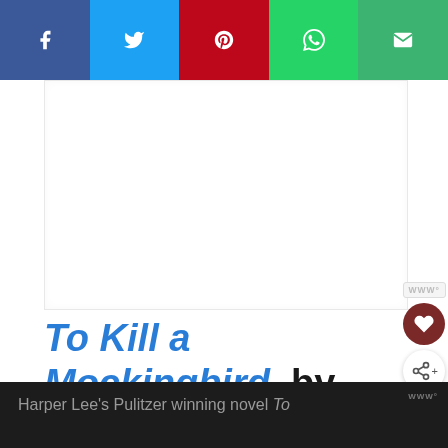[Figure (screenshot): Social media share bar with five buttons: Facebook (blue-purple), Twitter (light blue), Pinterest (red), WhatsApp (green), Email (green)]
[Figure (other): Large white blank content area (book cover image placeholder)]
To Kill a Mockingbird, by Harper Lee
Harper Lee's Pulitzer winning novel To